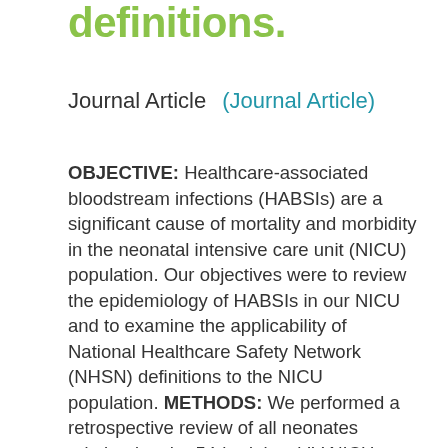definitions.
Journal Article    (Journal Article)
OBJECTIVE: Healthcare-associated bloodstream infections (HABSIs) are a significant cause of mortality and morbidity in the neonatal intensive care unit (NICU) population. Our objectives were to review the epidemiology of HABSIs in our NICU and to examine the applicability of National Healthcare Safety Network (NHSN) definitions to the NICU population. METHODS: We performed a retrospective review of all neonates admitted to the 54-bed, level IV NICU at Yale-New Haven Children's Hospital with a HABSI between January 1, 2013, and December 31, 2018. Clinical definitions per NICU team and